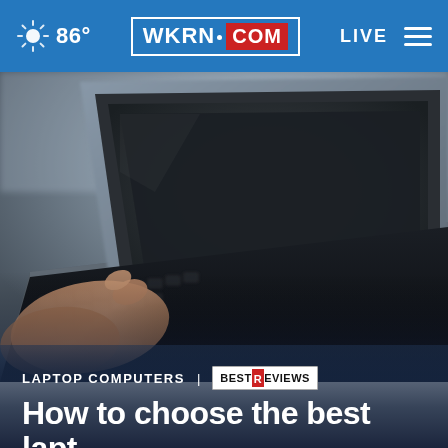86° WKRN.COM LIVE
[Figure (photo): Close-up photo of a person's hand typing on a dark laptop keyboard, with the laptop screen visible. The image is slightly blurred/bokeh style with gray tones.]
LAPTOP COMPUTERS | BESTREVIEWS
How to choose the best lapt...